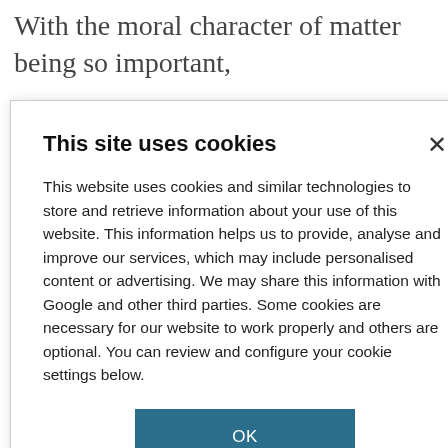With the moral character of matter being so important,
ures are as much agents. filled with a nds precisely to ation from also the inevitable olecules, might nd calcining are inetic trap that is molecules means done under
[Figure (screenshot): Cookie consent dialog overlay with title 'This site uses cookies', body text explaining cookie usage, an OK button, and a COOKIE SETTINGS link.]
GET MORE